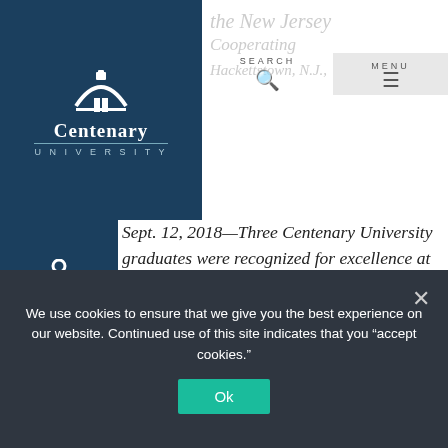[Figure (logo): Centenary University logo: white arch/building icon above 'Centenary University' text on dark teal background]
SEARCH  MENU
Hackettstown, N.J., Sept. 12, 2018—Three Centenary University graduates were recognized for excellence at the New Jersey Distinguished Clinical and Cooperating Teachers Award Ceremony. The awards are co-sponsored by the New Jersey Department of Education and New Jersey's Association of Colleges for Teacher Education.
We use cookies to ensure that we give you the best experience on our website. Continued use of this site indicates that you "accept cookies."